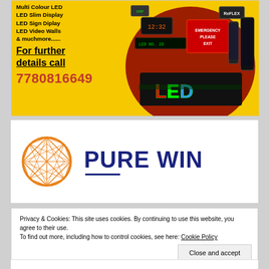[Figure (illustration): LED display advertisement banner with yellow background showing product list (Multi Colour LED, LED Slim Display, LED Sign Display, LED Video Walls & muchmore......), 'For further details call' text underlined, phone number 7780816649 in red, and images of various LED signs and displays on the right side including circular display of LED products.]
[Figure (logo): Pure Win logo: orange geometric diamond/gem wireframe circle on the left, and bold dark navy text 'PURE WIN' on the right with a small blue underline bar beneath 'PURE']
Privacy & Cookies: This site uses cookies. By continuing to use this website, you agree to their use.
To find out more, including how to control cookies, see here: Cookie Policy
Close and accept